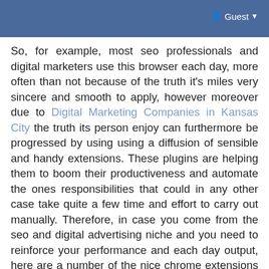Guest
So, for example, most seo professionals and digital marketers use this browser each day, more often than not because of the truth it's miles very sincere and smooth to apply, however moreover due to Digital Marketing Companies in Kansas City the truth its person enjoy can furthermore be progressed by using using a diffusion of sensible and handy extensions. These plugins are helping them to boom their productiveness and automate the ones responsibilities that could in any other case take quite a few time and effort to carry out manually. Therefore, in case you come from the seo and digital advertising niche and you need to reinforce your performance and each day output, here are a number of the nice chrome extensions you need to virtually strive. We categorized them in a few lessons for much less complex browsing: this extension is virtually a ought to-have for each search